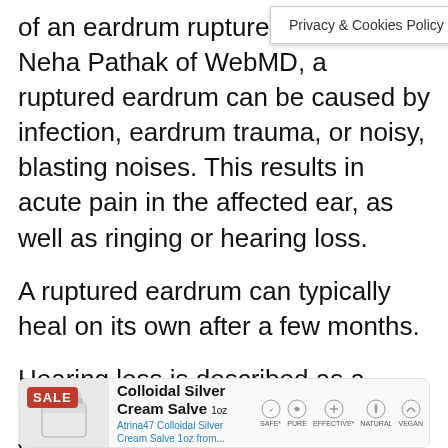of an eardrum rupture. According to Neha Pathak of WebMD, a ruptured eardrum can be caused by infection, eardrum trauma, or noisy, blasting noises. This results in acute pain in the affected ear, as well as ringing or hearing loss.
A ruptured eardrum can typically heal on its own after a few months.
Hearing loss is described as a sudden or gradual weakening of your child’s hearing. Depending on the trigger, it can be mild or severe. It can be temporary or permanent. Your child was born with hearing issues due to congenital hearing loss. Sound is blocked until it enters the inner ear in conductive hearing loss.
[Figure (other): Advertisement banner for Colloidal Silver Cream Salve 1oz with SALE badge, product image of a jar, product name, subtitle text, and icons for SAFE, PURE, EFFECTIVE, NATURAL, VEGAN]